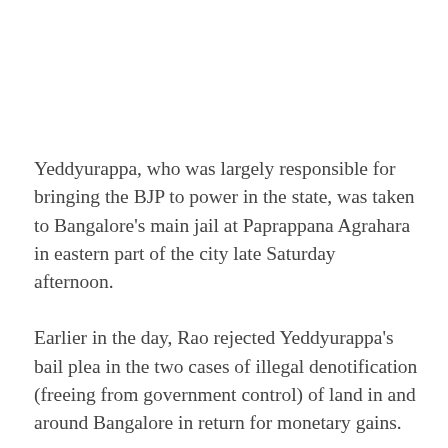Yeddyurappa, who was largely responsible for bringing the BJP to power in the state, was taken to Bangalore's main jail at Paprappana Agrahara in eastern part of the city late Saturday afternoon.
Earlier in the day, Rao rejected Yeddyurappa's bail plea in the two cases of illegal denotification (freeing from government control) of land in and around Bangalore in return for monetary gains.
The cases were filed in January this year by two